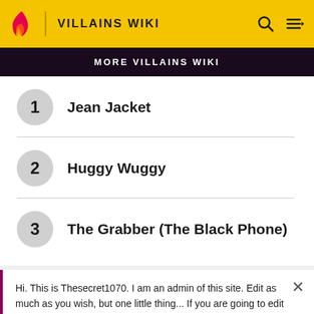VILLAINS WIKI
MORE VILLAINS WIKI
1 Jean Jacket
2 Huggy Wuggy
3 The Grabber (The Black Phone)
Hi. This is Thesecret1070. I am an admin of this site. Edit as much as you wish, but one little thing... If you are going to edit a lot, then make yourself a user and login. Other than that, enjoy Villains Wiki!!!